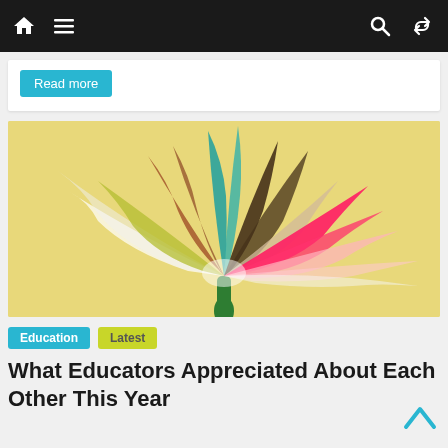Navigation bar with home, menu, search, and shuffle icons
Read more
[Figure (photo): Colorful paper or plastic hands arranged in the shape of a flower with petals in multiple colors (teal, brown, orange, yellow-green, white, pink, red) on a yellow background, with a green stem]
Education  Latest
What Educators Appreciated About Each Other This Year